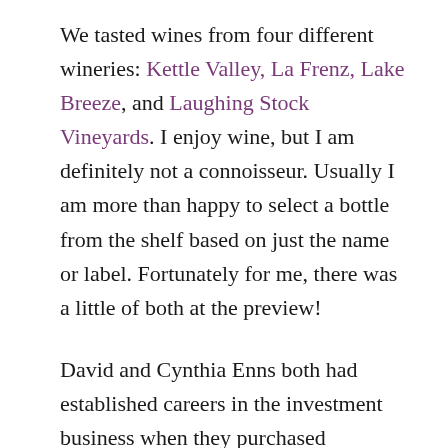We tasted wines from four different wineries: Kettle Valley, La Frenz, Lake Breeze, and Laughing Stock Vineyards. I enjoy wine, but I am definitely not a connoisseur. Usually I am more than happy to select a bottle from the shelf based on just the name or label. Fortunately for me, there was a little of both at the preview!
David and Cynthia Enns both had established careers in the investment business when they purchased Laughing Stock in 2003. The name is a play on the risk of launching a winery, and the financial references don’t end there. When they released their first wines, they called the event Laughing Stock’s Initial Public Offering (IPO). And they have some of the most unique